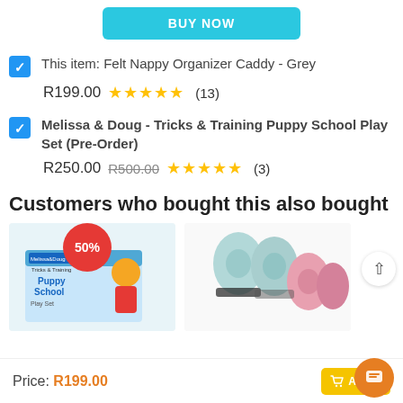[Figure (screenshot): BUY NOW button in cyan/teal color]
This item: Felt Nappy Organizer Caddy - Grey
R199.00 ★★★★★ (13)
Melissa & Doug - Tricks & Training Puppy School Play Set (Pre-Order)
R250.00 R500.00 ★★★★★ (3)
Customers who bought this also bought
[Figure (photo): Melissa & Doug Puppy School Play Set box with 50% badge]
[Figure (photo): Baby knee pads in blue and pink colors]
Price: R199.00